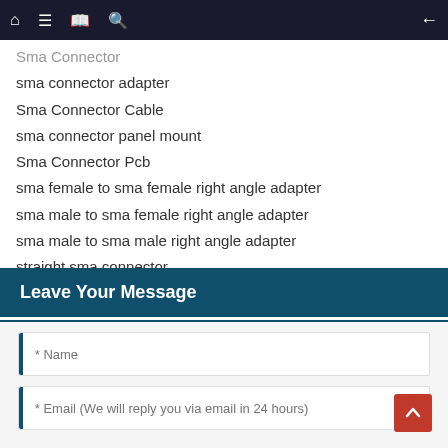Navigation bar with home, menu, book, search icons and back arrow
Sma Connector (partial, cut off at top)
sma connector adapter
Sma Connector Cable
sma connector panel mount
Sma Connector Pcb
sma female to sma female right angle adapter
sma male to sma female right angle adapter
sma male to sma male right angle adapter
straight sma connector
u fl to sma connector
Leave Your Message
* Name
* Email (We will reply you via email in 24 hours)